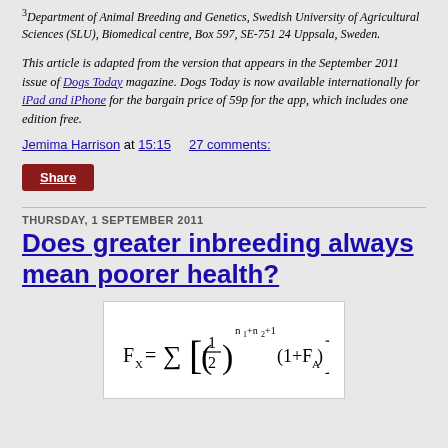3Department of Animal Breeding and Genetics, Swedish University of Agricultural Sciences (SLU), Biomedical centre, Box 597, SE-751 24 Uppsala, Sweden.
This article is adapted from the version that appears in the September 2011 issue of Dogs Today magazine. Dogs Today is now available internationally for iPad and iPhone for the bargain price of 59p for the app, which includes one edition free.
Jemima Harrison at 15:15   27 comments:
Share
THURSDAY, 1 SEPTEMBER 2011
Does greater inbreeding always mean poorer health?